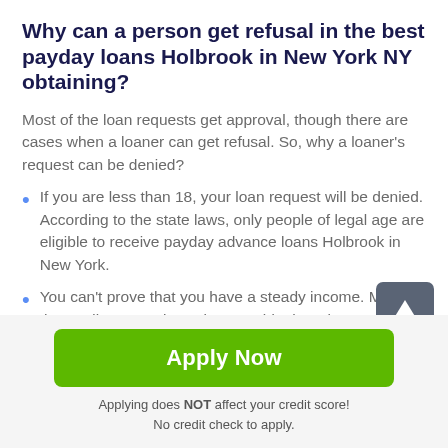Why can a person get refusal in the best payday loans Holbrook in New York NY obtaining?
Most of the loan requests get approval, though there are cases when a loaner can get refusal. So, why a loaner's request can be denied?
If you are less than 18, your loan request will be denied. According to the state laws, only people of legal age are eligible to receive payday advance loans Holbrook in New York.
You can't prove that you have a steady income. Most of the credit companies ask to provide the relevant document confirming your solvency;
[Figure (other): Dark gray scroll-to-top button with upward arrow icon, positioned in lower right area]
Apply Now
Applying does NOT affect your credit score!
No credit check to apply.